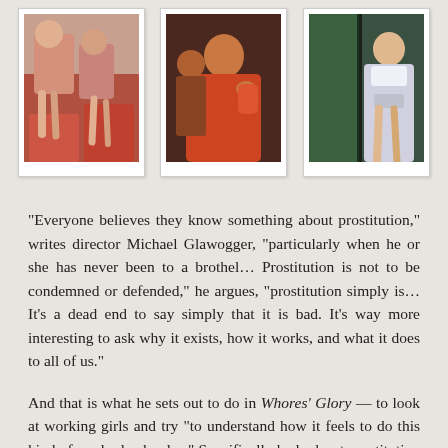[Figure (photo): Three photographs arranged in a row showing women in various settings related to the documentary subject matter]
“Everyone believes they know something about prostitution,” writes director Michael Glawogger, “particularly when he or she has never been to a brothel… Prostitution is not to be condemned or defended,” he argues, “prostitution simply is… It’s a dead end to say simply that it is bad. It’s way more interesting to ask why it exists, how it works, and what it does to all of us.”
And that is what he sets out to do in Whores’ Glory — to look at working girls and try “to understand how it feels to do this kind of work, day by day.” Specifically he looks at prostitution in three societies: Buddhist Thailand, Islamic Bangladesh, and Catholic Mexico. In Bangkok he studies the ‘Fish Tank,’ an upscale brothel run by Thai Chinese for clients with credit cards. In Faridpur he studies the ‘City of Joy,’ a claustrophobic